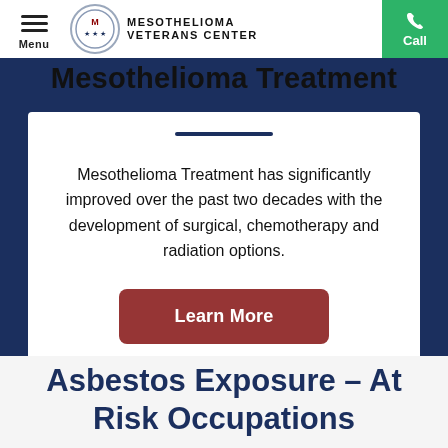Menu | MESOTHELIOMA VETERANS CENTER | Call
Mesothelioma Treatment
Mesothelioma Treatment has significantly improved over the past two decades with the development of surgical, chemotherapy and radiation options.
Learn More
Asbestos Exposure – At Risk Occupations